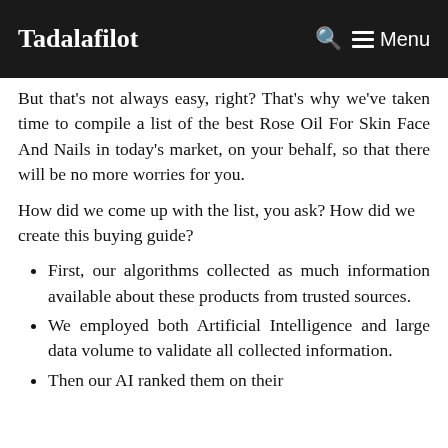Tadalafilot | Menu
But that's not always easy, right? That's why we've taken time to compile a list of the best Rose Oil For Skin Face And Nails in today's market, on your behalf, so that there will be no more worries for you.
How did we come up with the list, you ask? How did we create this buying guide?
First, our algorithms collected as much information available about these products from trusted sources.
We employed both Artificial Intelligence and large data volume to validate all collected information.
Then our AI ranked them on their qualities, characteristics, prices, and more.